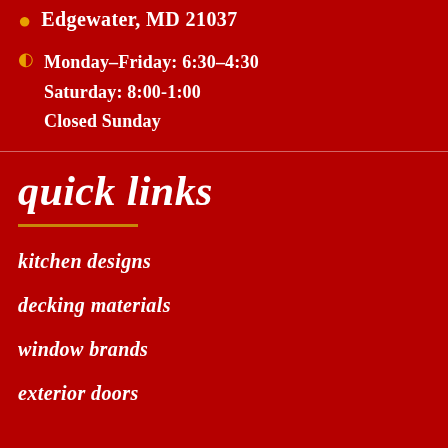Edgewater, MD 21037
Monday–Friday: 6:30–4:30
Saturday: 8:00-1:00
Closed Sunday
quick links
kitchen designs
decking materials
window brands
exterior doors